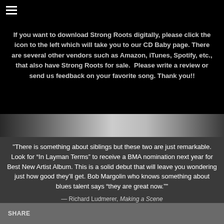[Figure (other): Hamburger menu icon (three horizontal lines) in the top-left corner on a black background]
If you want to download Strong Roots digitally, please click the icon to the left which will take you to our CD Baby page. There are several other vendors such as Amazon, iTunes, Spotify, etc., that also have Strong Roots for sale.  Please write a review or send us feedback on your favorite song. Thank you!!
[Figure (photo): Partial photo strip showing two people (siblings) in outdoor setting, visible from waist area]
"There is something about siblings but these two are just remarkable. Look for “In Layman Terms” to receive a BMA nomination next year for Best New Artist Album. This is a solid debut that will leave you wondering just how good they’ll get. Bob Margolin who knows something about blues talent says “they are great now.”"
— Richard Ludmerer, Making a Scene
SHARE